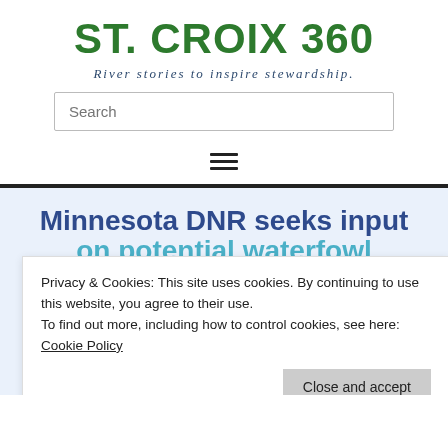ST. CROIX 360
River stories to inspire stewardship.
Minnesota DNR seeks input on potential waterfowl hunting changes
Comment on possible changes to seasons, daily bag, the daily limit on Canada geese limits, and other regulations.
Privacy & Cookies: This site uses cookies. By continuing to use this website, you agree to their use. To find out more, including how to control cookies, see here: Cookie Policy